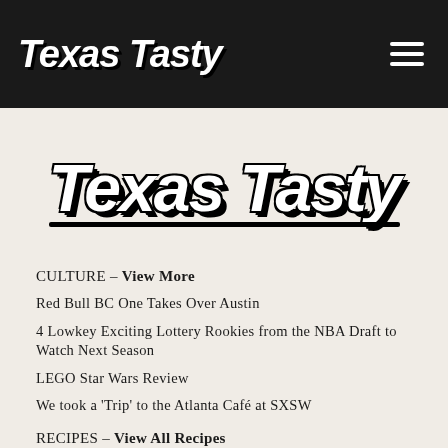Texas Tasty
[Figure (logo): Texas Tasty script logo in white on dark background, large hero display]
CULTURE – View More
Red Bull BC One Takes Over Austin
4 Lowkey Exciting Lottery Rookies from the NBA Draft to Watch Next Season
LEGO Star Wars Review
We took a 'Trip' to the Atlanta Café at SXSW
RECIPES – View All Recipes
How to Cook a Steak Without Firing Up the Grill
Kourtney Kardashian Salad Recipe
Gigi Hadid's Spicy Vodka Pasta
Strawberry Crunch Cake Recipe
AROUND TOWN – View More